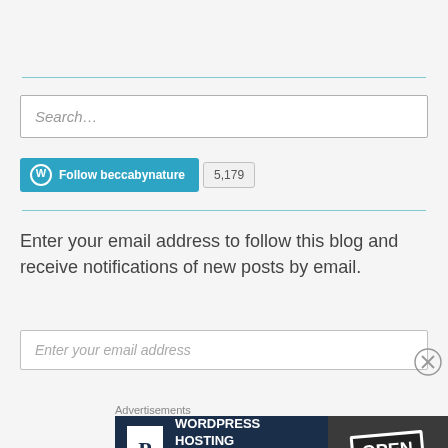[Figure (screenshot): Search input box with placeholder text 'Search...']
[Figure (screenshot): WordPress Follow button for beccabynature with follower count 5,179]
Enter your email address to follow this blog and receive notifications of new posts by email.
[Figure (screenshot): Email address input field with placeholder 'Enter your email address']
Advertisements
[Figure (screenshot): WordPress Hosting advertisement banner: 'WORDPRESS HOSTING THAT MEANS BUSINESS.' with P icon and OPEN sign image]